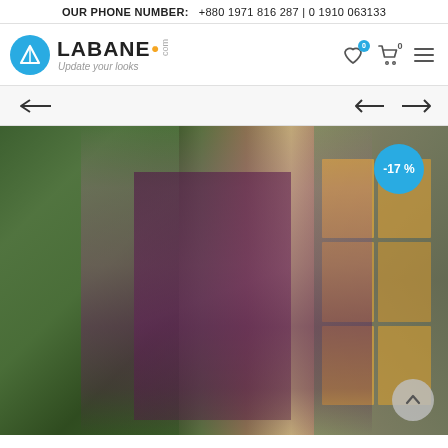OUR PHONE NUMBER: +880 1971 816 287 | 0 1910 063133
[Figure (logo): Labane.com logo with blue circle, triangle icon, and tagline 'Update your looks']
[Figure (photo): Woman wearing purple and mauve embroidered salwar kameez standing in front of green ivy wall and French doors with warm light, with -17% discount badge]